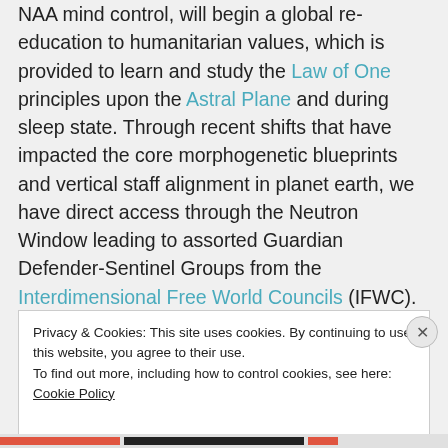NAA mind control, will begin a global re-education to humanitarian values, which is provided to learn and study the Law of One principles upon the Astral Plane and during sleep state. Through recent shifts that have impacted the core morphogenetic blueprints and vertical staff alignment in planet earth, we have direct access through the Neutron Window leading to assorted Guardian Defender-Sentinel Groups from the Interdimensional Free World Councils (IFWC). These Guardian Groups are
Privacy & Cookies: This site uses cookies. By continuing to use this website, you agree to their use.
To find out more, including how to control cookies, see here: Cookie Policy
Close and accept